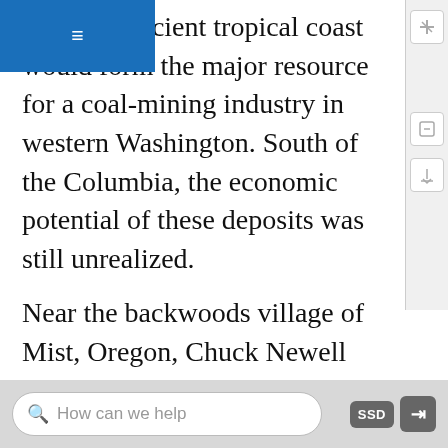≡
ts of this ancient tropical coast would form the major resource for a coal-mining industry in western Washington. South of the Columbia, the economic potential of these deposits was still unrealized.

Near the backwoods village of Mist, Oregon, Chuck Newell had a dream. As a geologist for Shell Oil Company and later as an independent consultant, Newell had slogged up the brushy creeks and barren clearcuts of the northern Coast Range, and he slowly pieced together an idea about the hidden geologic structure. Maybe the gas from the swamp deposits had migrated into the river sand, now hardened into sandstone. Maybe there was a gas field beneath a broad uparched anticline that Newell had mapped beneath the alder and devil's club jungle of the Coast
How can we help   SSD ↦